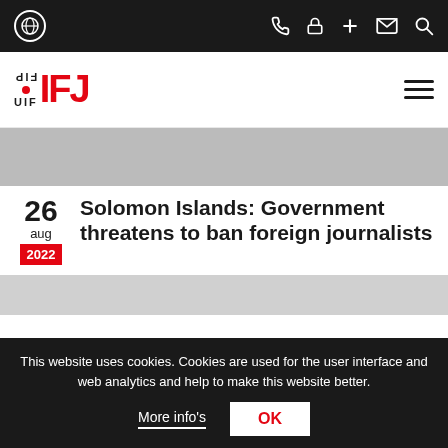IFJ FIP website navigation bar with globe, phone, lock, plus, mail, and search icons
[Figure (logo): IFJ / FIP logo with red IFJ text and black FIP/UIF mirrored text]
[Figure (photo): Hero image placeholder (gray rectangle)]
Solomon Islands: Government threatens to ban foreign journalists
26 aug 2022
[Figure (photo): Second image placeholder (light gray rectangle)]
This website uses cookies. Cookies are used for the user interface and web analytics and help to make this website better.